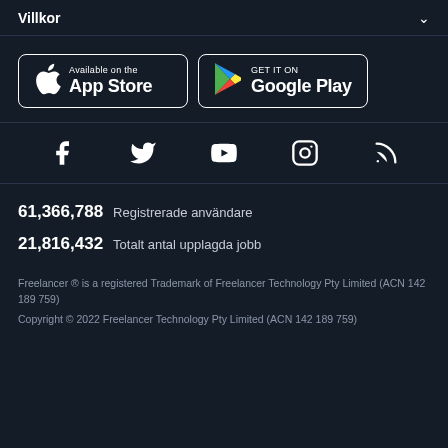Villkor
[Figure (logo): App Store button - Available on the App Store with Apple logo]
[Figure (logo): Google Play button - GET IT ON Google Play with Play Store triangle logo]
[Figure (infographic): Social media icons row: Facebook, Twitter, YouTube, Instagram, RSS feed]
61,366,788  Registrerade användare
21,816,432  Totalt antal upplagda jobb
Freelancer ® is a registered Trademark of Freelancer Technology Pty Limited (ACN 142 189 759)
Copyright © 2022 Freelancer Technology Pty Limited (ACN 142 189 759)